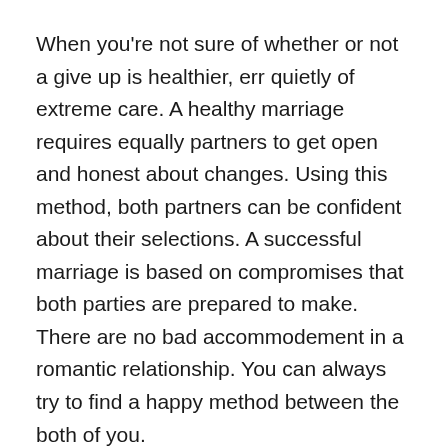When you're not sure of whether or not a give up is healthier, err quietly of extreme care. A healthy marriage requires equally partners to get open and honest about changes. Using this method, both partners can be confident about their selections. A successful marriage is based on compromises that both parties are prepared to make. There are no bad accommodement in a romantic relationship. You can always try to find a happy method between the both of you.
Compromises are necessary, but not pretty much all compromises ought to be unhealthy. When you are compromising too much in a relationship, you're risking the relationship's overall health. The other party's interests will probably be impacted as well. If you want to stop problems in a romantic